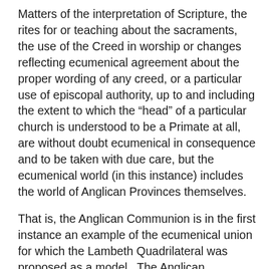Matters of the interpretation of Scripture, the rites for or teaching about the sacraments, the use of the Creed in worship or changes reflecting ecumenical agreement about the proper wording of any creed, or a particular use of episcopal authority, up to and including the extent to which the "head" of a particular church is understood to be a Primate at all, are without doubt ecumenical in consequence and to be taken with due care, but the ecumenical world (in this instance) includes the world of Anglican Provinces themselves.
That is, the Anglican Communion is in the first instance an example of the ecumenical union for which the Lambeth Quadrilateral was proposed as a model.  The Anglican Communion is not a world wide church. It is an ecumenical and familial union of churches all who share the signs of union at their core and who form their lives in accordance with the